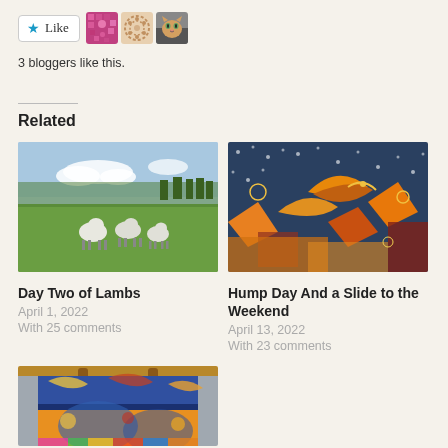[Figure (other): Like button with star icon and two blogger avatar thumbnails]
3 bloggers like this.
Related
[Figure (photo): Photo of sheep grazing in a green field with trees and blue sky]
[Figure (photo): Close-up photo of colorful quilt fabric with orange, teal, and yellow patterns]
Day Two of Lambs
April 1, 2022
With 25 comments
Hump Day And a Slide to the Weekend
April 13, 2022
With 23 comments
[Figure (photo): Photo of a colorful tote bag with blue and orange quilt pattern hanging on a wooden rack]